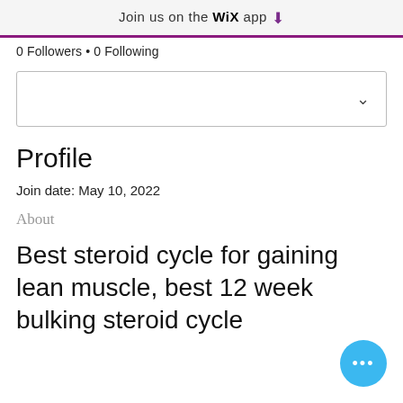Join us on the WiX app ↓
0 Followers • 0 Following
Profile
Join date: May 10, 2022
About
Best steroid cycle for gaining lean muscle, best 12 week bulking steroid cycle